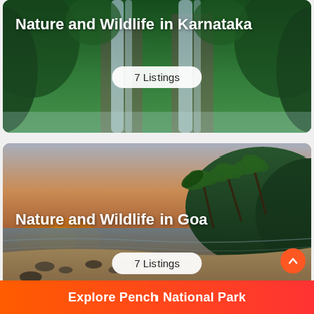[Figure (photo): Waterfall in a lush green forest - Nature and Wildlife in Karnataka card with '7 Listings' badge]
[Figure (photo): Tropical beach at sunset with palm trees and rocky shore - Nature and Wildlife in Goa card with '7 Listings' badge]
Explore Pench National Park